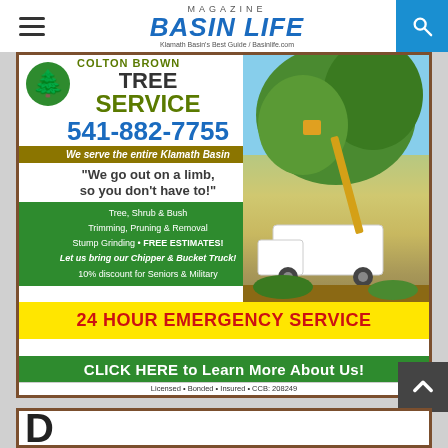BASIN LIFE MAGAZINE — Klamath Basin's Best Guide / BasinLife.com
[Figure (illustration): Basin Life Magazine logo with aerial landscape photo]
[Figure (photo): Advertisement for Colton Brown Tree Service showing truck and workers trimming trees]
COLTON BROWN TREE SERVICE
541-882-7755
We serve the entire Klamath Basin
"We go out on a limb, so you don't have to!"
Tree, Shrub & Bush
Trimming, Pruning & Removal
Stump Grinding • FREE ESTIMATES!
Let us bring our Chipper & Bucket Truck!
10% discount for Seniors & Military
24 HOUR EMERGENCY SERVICE
CLICK HERE to Learn More About Us!
Licensed • Bonded • Insured • CCB: 208249